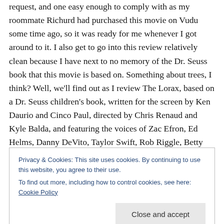request, and one easy enough to comply with as my roommate Richurd had purchased this movie on Vudu some time ago, so it was ready for me whenever I got around to it. I also get to go into this review relatively clean because I have next to no memory of the Dr. Seuss book that this movie is based on. Something about trees, I think? Well, we'll find out as I review The Lorax, based on a Dr. Seuss children's book, written for the screen by Ken Daurio and Cinco Paul, directed by Chris Renaud and Kyle Balda, and featuring the voices of Zac Efron, Ed Helms, Danny DeVito, Taylor Swift, Rob Riggle, Betty
Privacy & Cookies: This site uses cookies. By continuing to use this website, you agree to their use.
To find out more, including how to control cookies, see here: Cookie Policy